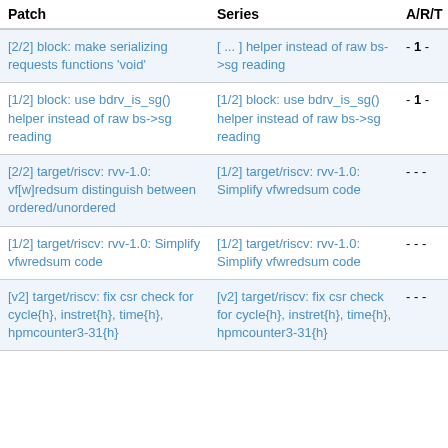| Patch | Series | A/R/T | S/N |
| --- | --- | --- | --- |
| [2/2] block: make serializing requests functions 'void' | [...] helper instead of raw bs->sg reading | - 1 - | - |
| [1/2] block: use bdrv_is_sg() helper instead of raw bs->sg reading | [1/2] block: use bdrv_is_sg() helper instead of raw bs->sg reading | - 1 - | - |
| [2/2] target/riscv: rvv-1.0: vf[w]redsum distinguish between ordered/unordered | [1/2] target/riscv: rvv-1.0: Simplify vfwredsum code | - - - | - |
| [1/2] target/riscv: rvv-1.0: Simplify vfwredsum code | [1/2] target/riscv: rvv-1.0: Simplify vfwredsum code | - - - | - |
| [v2] target/riscv: fix csr check for cycle{h}, instret{h}, time{h}, hpmcounter3-31{h} | [v2] target/riscv: fix csr check for cycle{h}, instret{h}, time{h}, hpmcounter3-31{h} | - - - | - |